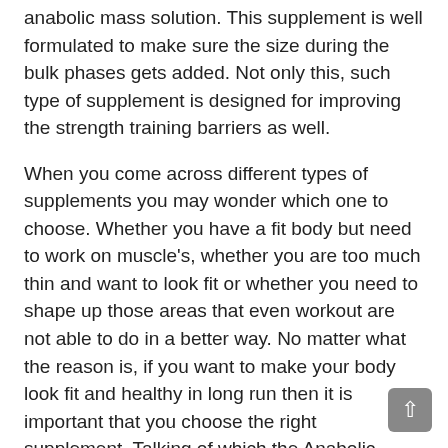anabolic mass solution. This supplement is well formulated to make sure the size during the bulk phases gets added. Not only this, such type of supplement is designed for improving the strength training barriers as well.
When you come across different types of supplements you may wonder which one to choose. Whether you have a fit body but need to work on muscle's, whether you are too much thin and want to look fit or whether you need to shape up those areas that even workout are not able to do in a better way. No matter what the reason is, if you want to make your body look fit and healthy in long run then it is important that you choose the right supplement. Talking of which the Anabolic mass gainer can be the right option for you.
Tips that may help:
Before you choose to buy anabolic mass gainer 3kg you need to understand that it is not designed for those who want to come first but for the alpha individuals who focuses on driving towards